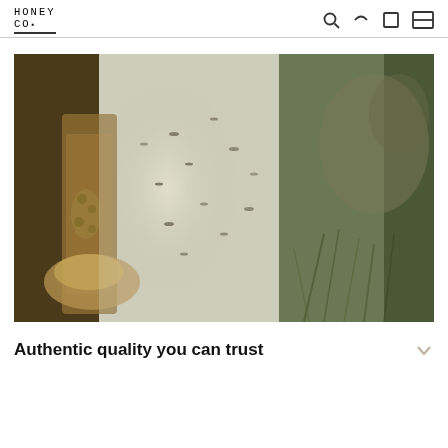Honey Co.
[Figure (photo): Close-up photograph of bees swarming around a beehive or tree branch outdoors, with blurred green foliage in the background. The scene shows bees in flight and clustered on a wooden structure, with a misty/hazy outdoor background.]
Authentic quality you can trust